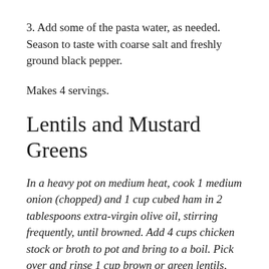3. Add some of the pasta water, as needed. Season to taste with coarse salt and freshly ground black pepper.
Makes 4 servings.
Lentils and Mustard Greens
In a heavy pot on medium heat, cook 1 medium onion (chopped) and 1 cup cubed ham in 2 tablespoons extra-virgin olive oil, stirring frequently, until browned. Add 4 cups chicken stock or broth to pot and bring to a boil. Pick over and rinse 1 cup brown or green lentils, then add to pot. Rinse 1 bunch mustard greens